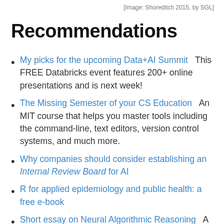[Image: Shoreditch 2015, by SGL]
Recommendations
My picks for the upcoming Data+AI Summit   This FREE Databricks event features 200+ online presentations and is next week!
The Missing Semester of your CS Education   An MIT course that helps you master tools including the command-line, text editors, version control systems, and much more.
Why companies should consider establishing an Internal Review Board for AI
R for applied epidemiology and public health: a free e-book
Short essay on Neural Algorithmic Reasoning   A